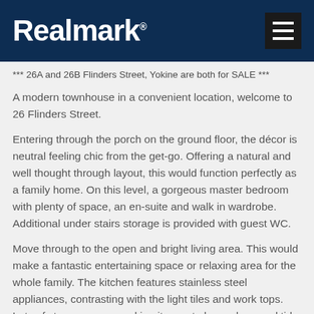Realmark
*** 26A and 26B Flinders Street, Yokine are both for SALE ***
A modern townhouse in a convenient location, welcome to 26 Flinders Street.
Entering through the porch on the ground floor, the décor is neutral feeling chic from the get-go. Offering a natural and well thought through layout, this would function perfectly as a family home. On this level, a gorgeous master bedroom with plenty of space, an en-suite and walk in wardrobe. Additional under stairs storage is provided with guest WC.
Move through to the open and bright living area. This would make a fantastic entertaining space or relaxing area for the whole family. The kitchen features stainless steel appliances, contrasting with the light tiles and work tops. Lots of storage space making it easy to keep clean and tidy. To the left, a